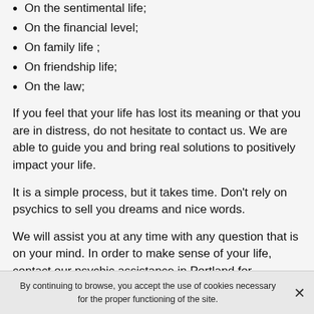On the sentimental life;
On the financial level;
On family life ;
On friendship life;
On the law;
If you feel that your life has lost its meaning or that you are in distress, do not hesitate to contact us. We are able to guide you and bring real solutions to positively impact your life.
It is a simple process, but it takes time. Don't rely on psychics to sell you dreams and nice words.
We will assist you at any time with any question that is on your mind. In order to make sense of your life, contact our psychic assistance in Portland for consultations. You will
By continuing to browse, you accept the use of cookies necessary for the proper functioning of the site.